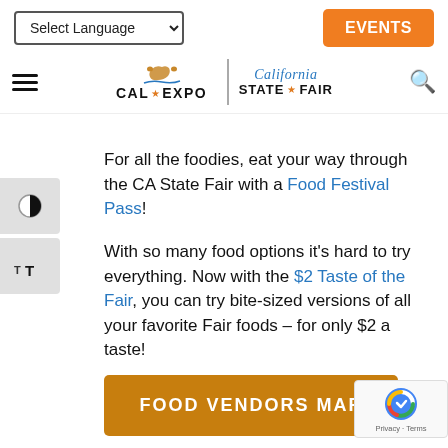[Figure (screenshot): Top navigation bar with Select Language dropdown and orange EVENTS button]
[Figure (logo): Cal Expo and California State Fair combined logo with hamburger menu and search icon]
For all the foodies, eat your way through the CA State Fair with a Food Festival Pass!
With so many food options it's hard to try everything. Now with the $2 Taste of the Fair, you can try bite-sized versions of all your favorite Fair foods – for only $2 a taste!
[Figure (screenshot): FOOD VENDORS MAP orange button]